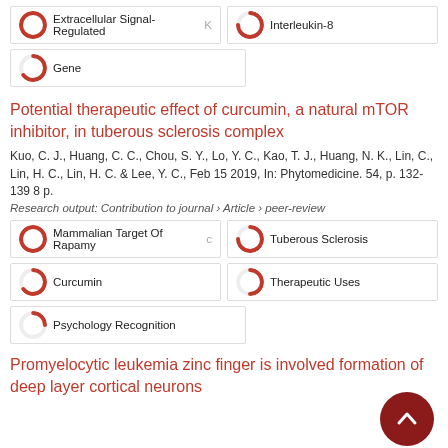[Figure (infographic): Keyword tags with circular completion indicators for Extracellular Signal-Regulated (100%) and Interleukin-8 (75%)]
[Figure (infographic): Keyword tag with circular completion indicator for Gene (65%)]
Potential therapeutic effect of curcumin, a natural mTOR inhibitor, in tuberous sclerosis complex
Kuo, C. J., Huang, C. C., Chou, S. Y., Lo, Y. C., Kao, T. J., Huang, N. K., Lin, C., Lin, H. C., Lin, H. C. & Lee, Y. C., Feb 15 2019, In: Phytomedicine. 54, p. 132-139 8 p.
Research output: Contribution to journal › Article › peer-review
[Figure (infographic): Keyword tags: Mammalian Target Of Rapamycin (100%), Tuberous Sclerosis (75%), Curcumin (65%), Therapeutic Uses (50%), Psychology Recognition (25%)]
Promyelocytic leukemia zinc finger is involved formation of deep layer cortical neurons